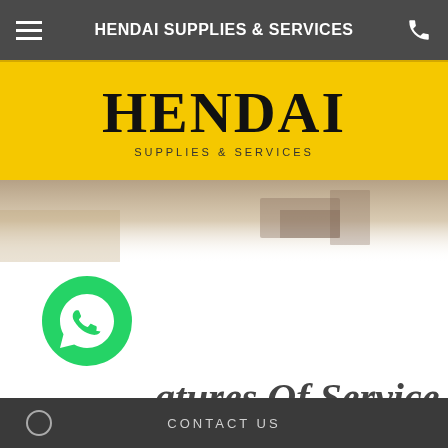HENDAI SUPPLIES & SERVICES
HENDAI
SUPPLIES & SERVICES
[Figure (photo): Partial view of a room or furniture, faded into white background]
atures Of Service
[Figure (logo): Green circular WhatsApp icon button]
CONTACT US